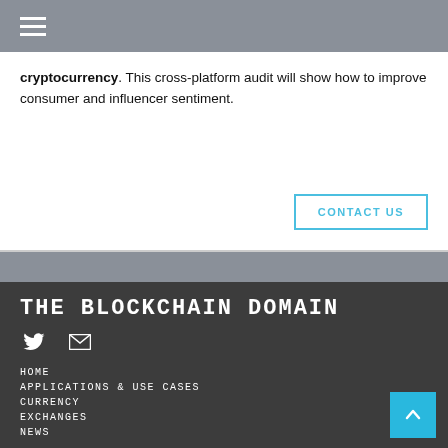Navigation menu bar with hamburger icon
cryptocurrency. This cross-platform audit will show how to improve consumer and influencer sentiment.
CONTACT US
THE BLOCKCHAIN DOMAIN
HOME
APPLICATIONS & USE CASES
CURRENCY
EXCHANGES
NEWS